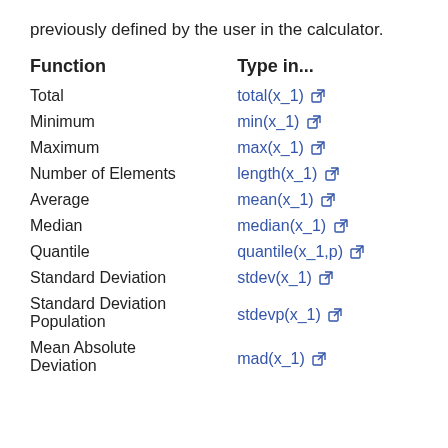previously defined by the user in the calculator.
| Function | Type in... |
| --- | --- |
| Total | total(x_1) ↗ |
| Minimum | min(x_1) ↗ |
| Maximum | max(x_1) ↗ |
| Number of Elements | length(x_1) ↗ |
| Average | mean(x_1) ↗ |
| Median | median(x_1) ↗ |
| Quantile | quantile(x_1,p) ↗ |
| Standard Deviation | stdev(x_1) ↗ |
| Standard Deviation Population | stdevp(x_1) ↗ |
| Mean Absolute Deviation | mad(x_1) ↗ |